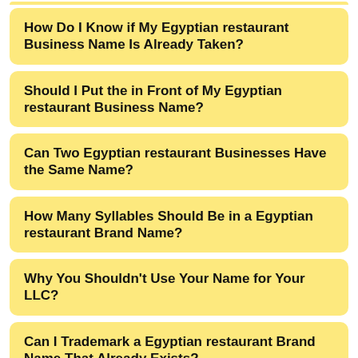How Do I Know if My Egyptian restaurant Business Name Is Already Taken?
Should I Put the in Front of My Egyptian restaurant Business Name?
Can Two Egyptian restaurant Businesses Have the Same Name?
How Many Syllables Should Be in a Egyptian restaurant Brand Name?
Why You Shouldn't Use Your Name for Your LLC?
Can I Trademark a Egyptian restaurant Brand Name That Already Exists?